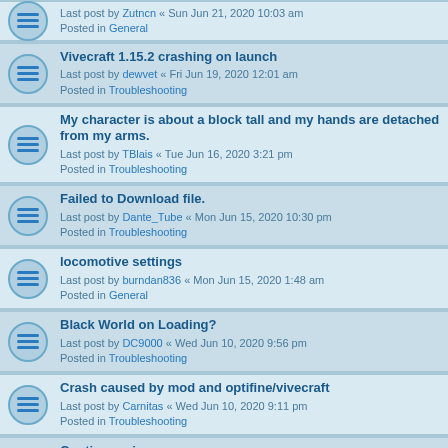Last post by Zutncn « Sun Jun 21, 2020 10:03 am
Posted in General
Vivecraft 1.15.2 crashing on launch
Last post by dewvet « Fri Jun 19, 2020 12:01 am
Posted in Troubleshooting
My character is about a block tall and my hands are detached from my arms.
Last post by TBlais « Tue Jun 16, 2020 3:21 pm
Posted in Troubleshooting
Failed to Download file.
Last post by Dante_Tube « Mon Jun 15, 2020 10:30 pm
Posted in Troubleshooting
locomotive settings
Last post by burndan836 « Mon Jun 15, 2020 1:48 am
Posted in General
Black World on Loading?
Last post by DC9000 « Wed Jun 10, 2020 9:56 pm
Posted in Troubleshooting
Crash caused by mod and optifine/vivecraft
Last post by Carnitas « Wed Jun 10, 2020 9:11 pm
Posted in Troubleshooting
Continuum issue
Last post by GhostInCapris « Sun Jun 07, 2020 10:06 pm
Posted in Troubleshooting
vivecraft forces me to resetup my headset
Last post by fatman « Wed Jun 03, 2020 3:15 pm
Posted in Troubleshooting